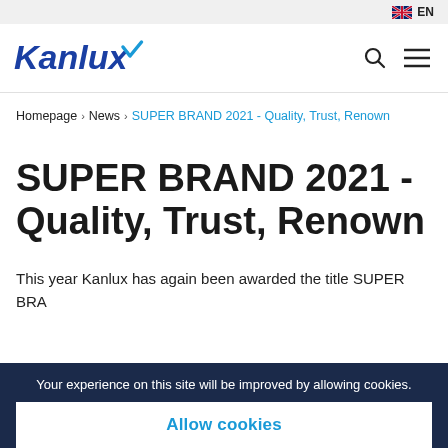EN
[Figure (logo): Kanlux company logo in blue with a checkmark]
Homepage > News > SUPER BRAND 2021 - Quality, Trust, Renown
SUPER BRAND 2021 - Quality, Trust, Renown
This year Kanlux has again been awarded the title SUPER BRA...
Your experience on this site will be improved by allowing cookies. Allow cookies